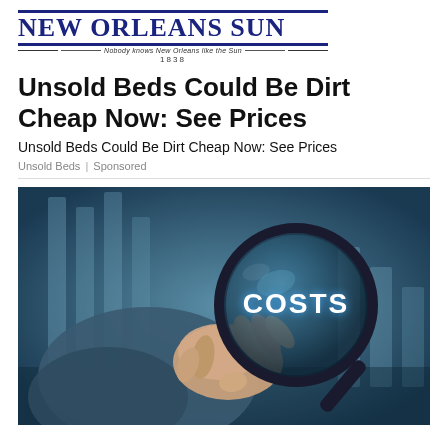NEW ORLEANS SUN — Nobody knows New Orleans like the Sun — 1838
Unsold Beds Could Be Dirt Cheap Now: See Prices
Unsold Beds Could Be Dirt Cheap Now: See Prices
Unsold Beds | Sponsored
[Figure (photo): A person holding a magnifying glass with the word COSTS visible through the lens, against a blurred blue background with vertical bars]